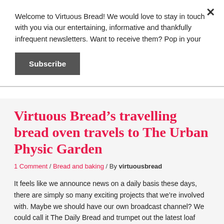Welcome to Virtuous Bread! We would love to stay in touch with you via our entertaining, informative and thankfully infrequent newsletters. Want to receive them? Pop in your
Subscribe
Virtuous Bread’s travelling bread oven travels to The Urban Physic Garden
1 Comment / Bread and baking / By virtuousbread
It feels like we announce news on a daily basis these days, there are simply so many exciting projects that we’re involved with. Maybe we should have our own broadcast channel? We could call it The Daily Bread and trumpet out the latest loaf lowdown.
The latest news to come out of Virtuous Bread’s HQ is our